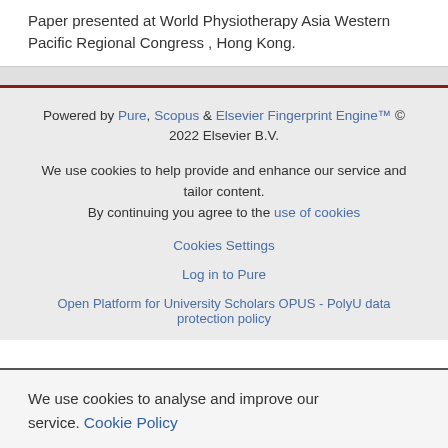Paper presented at World Physiotherapy Asia Western Pacific Regional Congress , Hong Kong.
Powered by Pure, Scopus & Elsevier Fingerprint Engine™ © 2022 Elsevier B.V.
We use cookies to help provide and enhance our service and tailor content. By continuing you agree to the use of cookies
Cookies Settings
Log in to Pure
Open Platform for University Scholars OPUS - PolyU data protection policy
We use cookies to analyse and improve our service. Cookie Policy